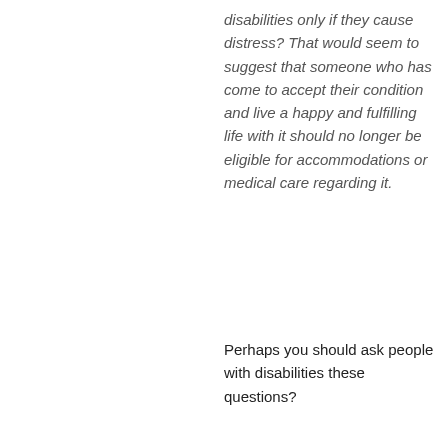disabilities only if they cause distress? That would seem to suggest that someone who has come to accept their condition and live a happy and fulfilling life with it should no longer be eligible for accommodations or medical care regarding it.
Perhaps you should ask people with disabilities these questions?